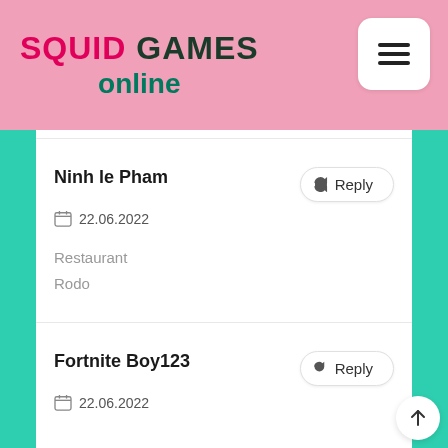SQUID GAMES online
Ninh le Pham
22.06.2022
Restaurant
Rodo
Fortnite Boy123
22.06.2022